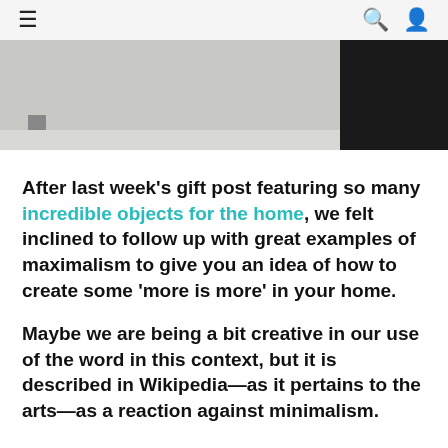≡  🔍  👤
[Figure (photo): Partial hero image showing a room scene with a light grey area transitioning to a dark black section on the right.]
After last week's gift post featuring so many incredible objects for the home, we felt inclined to follow up with great examples of maximalism to give you an idea of how to create some 'more is more' in your home.
Maybe we are being a bit creative in our use of the word in this context, but it is described in Wikipedia—as it pertains to the arts—as a reaction against minimalism.
We must admit, sometimes more is more